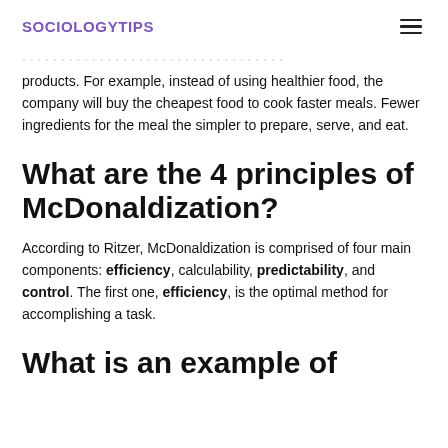SOCIOLOGYTIPS
products. For example, instead of using healthier food, the company will buy the cheapest food to cook faster meals. Fewer ingredients for the meal the simpler to prepare, serve, and eat.
What are the 4 principles of McDonaldization?
According to Ritzer, McDonaldization is comprised of four main components: efficiency, calculability, predictability, and control. The first one, efficiency, is the optimal method for accomplishing a task.
What is an example of